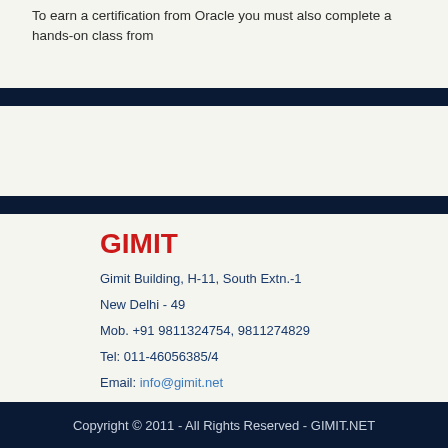To earn a certification from Oracle you must also complete a hands-on class from
GIMIT
Gimit Building, H-11, South Extn.-1
New Delhi - 49
Mob. +91 9811324754, 9811274829
Tel: 011-46056385/4
Email: info@gimit.net
Copyright © 2011 - All Rights Reserved - GIMIT.NET